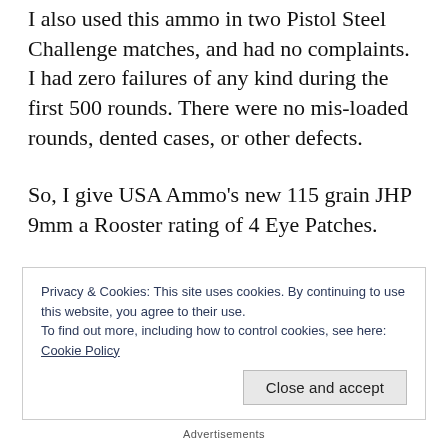I also used this ammo in two Pistol Steel Challenge matches, and had no complaints. I had zero failures of any kind during the first 500 rounds. There were no mis-loaded rounds, dented cases, or other defects.
So, I give USA Ammo's new 115 grain JHP 9mm a Rooster rating of 4 Eye Patches.
Disclosure – I bought all the ammo used in this test, and performed all the testing myself. There
Privacy & Cookies: This site uses cookies. By continuing to use this website, you agree to their use.
To find out more, including how to control cookies, see here: Cookie Policy
Close and accept
Advertisements